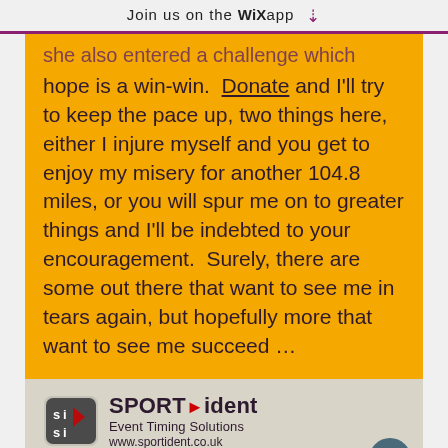Join us on the WiX app
...she also entered a challenge which hope is a win-win. Donate and I'll try to keep the pace up, two things here, either I injure myself and you get to enjoy my misery for another 104.8 miles, or you will spur me on to greater things and I'll be indebted to your encouragement. Surely, there are some out there that want to see me in tears again, but hopefully more that want to see me succeed ...
[Figure (logo): SPORTident Event Timing Solutions logo with SI icon, text: SPORTident Event Timing Solutions www.sportident.co.uk]
Brathay 10 in 10 - Day 6